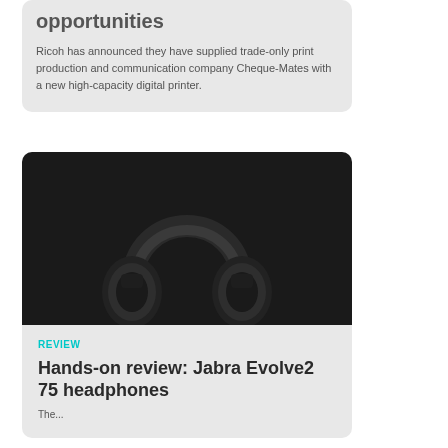opportunities
Ricoh has announced they have supplied trade-only print production and communication company Cheque-Mates with a new high-capacity digital printer.
[Figure (photo): Black over-ear Jabra Evolve2 75 headphones photographed against a dark background]
REVIEW
Hands-on review: Jabra Evolve2 75 headphones
The...